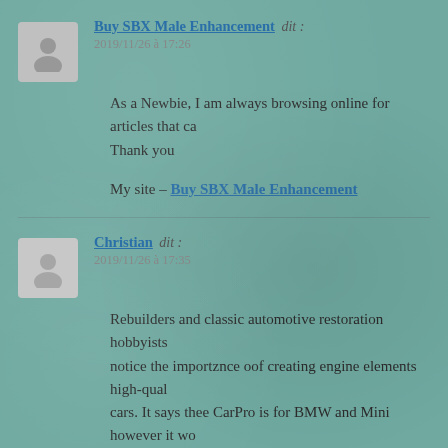Buy SBX Male Enhancement dit :
2019/11/26 à 17:26
As a Newbie, I am always browsing online for articles that ca
Thank you

My site – Buy SBX Male Enhancement
Christian dit :
2019/11/26 à 17:35
Rebuilders and classic automotive restoration hobbyists notice the importznce oof creating engine elements high-qual cars. It says thee CarPro is for BMW and Mini however it wo just tremendous. Ɗou may discover one which works howeve The smartest thing you are able to do is find yourself essentia and profgessional cash for cars service so that you may get the